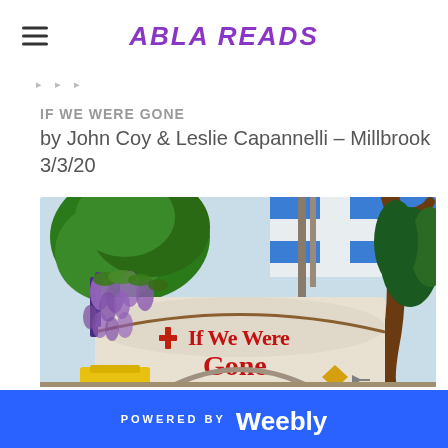ABLA READS
IF WE WERE GONE
by John Coy & Leslie Capannelli – Millbrook
3/3/20
[Figure (illustration): Book cover illustration of 'If We Were Gone' showing a painted scene with trees, wisteria flowers, a white wall with red text reading 'If We Were Gone', Greek-flag-like blue and white elements, and tropical foliage.]
POWERED BY weebly